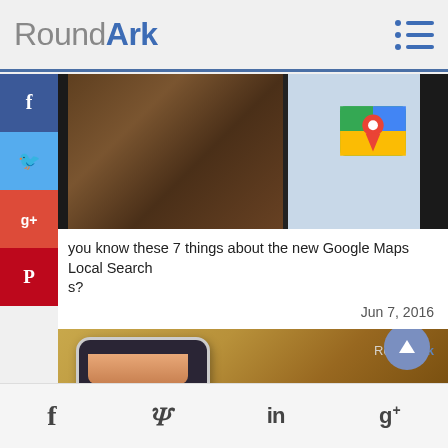RoundArk
[Figure (screenshot): Website screenshot showing a phone with Google Maps icon visible on screen, wooden background]
you know these 7 things about the new Google Maps Local Search s?
Jun 7, 2016
[Figure (screenshot): Article thumbnail showing a hand holding a phone with Pinterest app, red banner overlay reading: Pinterest Changes its PIN IT Button As SAVE for Global Growth. RoundArk watermark visible.]
f  twitter  in  g+